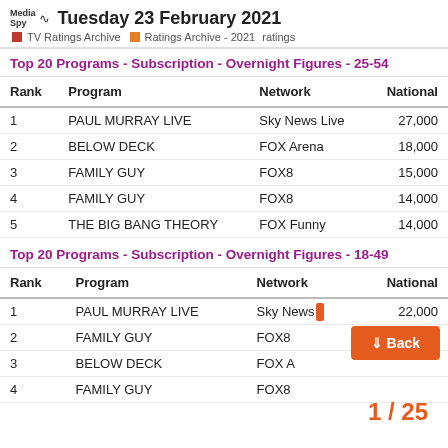Tuesday 23 February 2021 | TV Ratings Archive | Ratings Archive - 2021 ratings
Top 20 Programs - Subscription - Overnight Figures - 25-54
| Rank | Program | Network | National |
| --- | --- | --- | --- |
| 1 | PAUL MURRAY LIVE | Sky News Live | 27,000 |
| 2 | BELOW DECK | FOX Arena | 18,000 |
| 3 | FAMILY GUY | FOX8 | 15,000 |
| 4 | FAMILY GUY | FOX8 | 14,000 |
| 5 | THE BIG BANG THEORY | FOX Funny | 14,000 |
Top 20 Programs - Subscription - Overnight Figures - 18-49
| Rank | Program | Network | National |
| --- | --- | --- | --- |
| 1 | PAUL MURRAY LIVE | Sky News Live | 22,000 |
| 2 | FAMILY GUY | FOX8 | 16,000 |
| 3 | BELOW DECK | FOX Arena |  |
| 4 | FAMILY GUY | FOX8 |  |